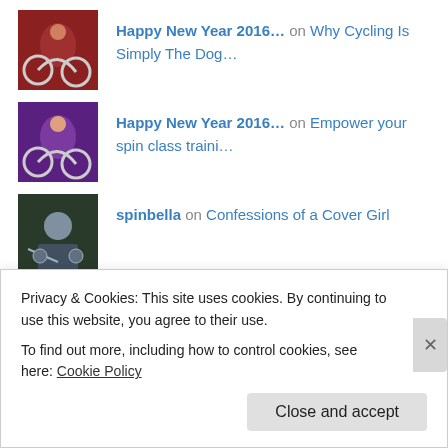Happy New Year 2016… on Why Cycling Is Simply The Dog…
Happy New Year 2016… on Empower your spin class traini…
spinbella on Confessions of a Cover Girl
thedancingrunner on Confessions of a Cover Girl
Tales from the studio
Privacy & Cookies: This site uses cookies. By continuing to use this website, you agree to their use.
To find out more, including how to control cookies, see here: Cookie Policy
Close and accept